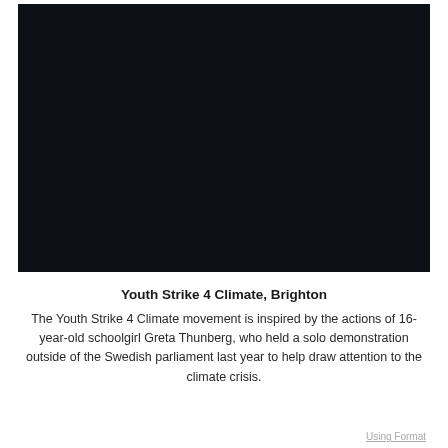[Figure (photo): A dark/near-black photograph, likely taken at night or in low light conditions, showing a crowd or outdoor scene that is not clearly discernible due to the darkness.]
Youth Strike 4 Climate, Brighton
The Youth Strike 4 Climate movement is inspired by the actions of 16-year-old schoolgirl Greta Thunberg, who held a solo demonstration outside of the Swedish parliament last year to help draw attention to the climate crisis.
Using Format